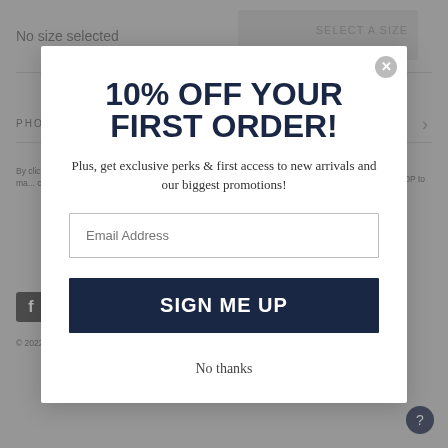No size selected
PHONE
By clicking... messages... autodialed... rates may... cancel. Vi...
© 2022
10% OFF YOUR FIRST ORDER!
Plus, get exclusive perks & first access to new arrivals and our biggest promotions!
Email Address
SIGN ME UP
No thanks